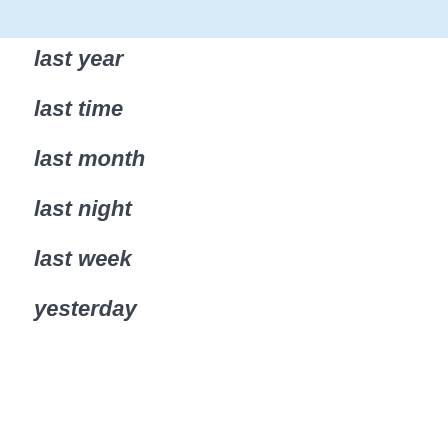last year
last time
last month
last night
last week
yesterday